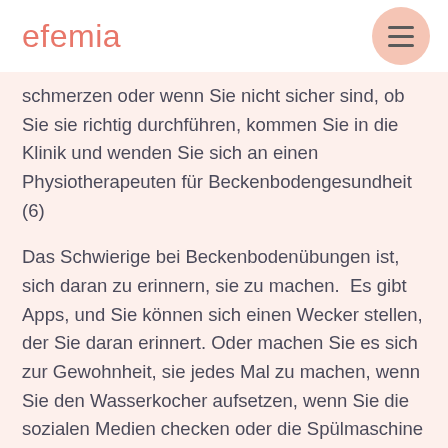efemia
schmerzen oder wenn Sie nicht sicher sind, ob Sie sie richtig durchführen, kommen Sie in die Klinik und wenden Sie sich an einen Physiotherapeuten für Beckenbodengesundheit (6)
Das Schwierige bei Beckenbodenübungen ist, sich daran zu erinnern, sie zu machen. Es gibt Apps, und Sie können sich einen Wecker stellen, der Sie daran erinnert. Oder machen Sie es sich zur Gewohnheit, sie jedes Mal zu machen, wenn Sie den Wasserkocher aufsetzen, wenn Sie die sozialen Medien checken oder die Spülmaschine ausräumen.
Das Wichtigste ist, sie zu tun, und zwar konsequent